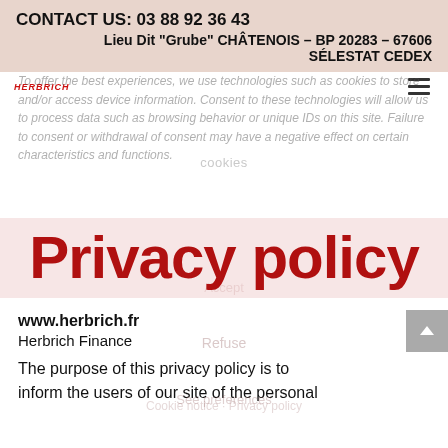CONTACT US: 03 88 92 36 43
Lieu Dit "Grube" CHÂTENOIS – BP 20283 – 67606 SÉLESTAT CEDEX
[Figure (logo): Herbrich logo in red italic text]
To offer the best experiences, we use technologies such as cookies to store and/or access device information. Consent to these technologies will allow us to process data such as browsing behavior or unique IDs on this site. Failure to consent or withdrawal of consent may have a negative effect on certain characteristics and functions.
Privacy policy
www.herbrich.fr
Herbrich Finance
The purpose of this privacy policy is to inform the users of our site of the personal